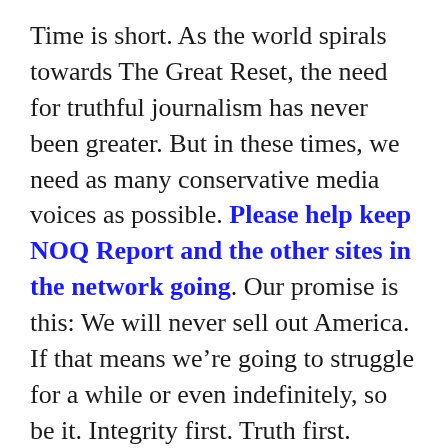Time is short. As the world spirals towards The Great Reset, the need for truthful journalism has never been greater. But in these times, we need as many conservative media voices as possible. Please help keep NOQ Report and the other sites in the network going. Our promise is this: We will never sell out America. If that means we're going to struggle for a while or even indefinitely, so be it. Integrity first. Truth first. America first.
Thank you and God Bless,
JD Rucker